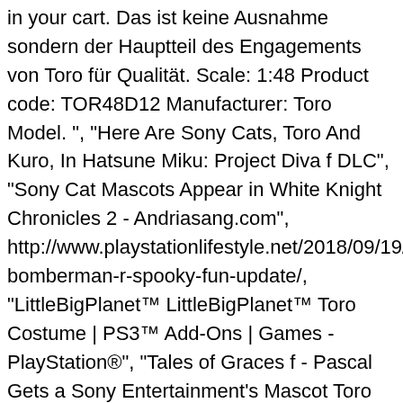in your cart. Das ist keine Ausnahme sondern der Hauptteil des Engagements von Toro für Qualität. Scale: 1:48 Product code: TOR48D12 Manufacturer: Toro Model. ", "Here Are Sony Cats, Toro And Kuro, In Hatsune Miku: Project Diva f DLC", "Sony Cat Mascots Appear in White Knight Chronicles 2 - Andriasang.com", http://www.playstationlifestyle.net/2018/09/19/super-bomberman-r-spooky-fun-update/, "LittleBigPlanet™ LittleBigPlanet™ Toro Costume | PS3™ Add-Ons | Games - PlayStation®", "Tales of Graces f - Pascal Gets a Sony Entertainment's Mascot Toro Costume", PlayStation Official Magazine – Australia, https://en.wikipedia.org/w/index.php?title=Toro_Inoue&oldid=976762915, Anthropomorphic characters in video games, PlayStation All-Stars Battle Royale fighters, Sony Interactive Entertainment characters, Sony Interactive Entertainment franchises, Articles needing translation from Japanese Wikipedia, Articles containing Japanese-language